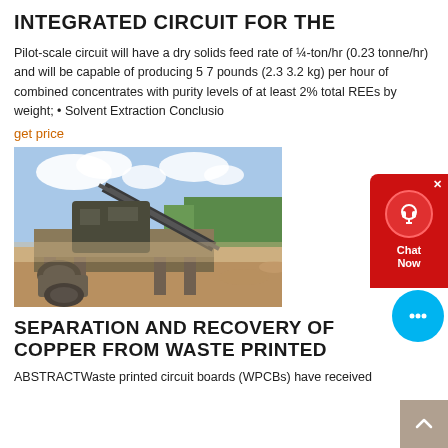INTEGRATED CIRCUIT FOR THE
Pilot-scale circuit will have a dry solids feed rate of ¼-ton/hr (0.23 tonne/hr) and will be capable of producing 5 7 pounds (2.3 3.2 kg) per hour of combined concentrates with purity levels of at least 2% total REEs by weight; • Solvent Extraction Conclusio…
get price
[Figure (photo): Industrial mining/processing plant with conveyor belts and heavy equipment on a dusty outdoor site with trees in background]
SEPARATION AND RECOVERY OF COPPER FROM WASTE PRINTED
ABSTRACTWaste printed circuit boards (WPCBs) have received